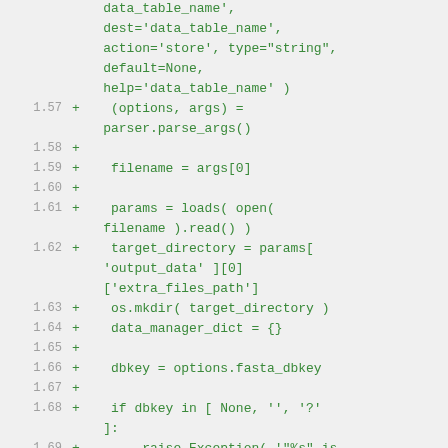Code diff showing Python script lines 1.57-1.71 with additions (+) including parser.parse_args(), filename = args[0], params = loads, target_directory, os.mkdir, data_manager_dict, dbkey, if dbkey check, raise Exception, sequence_id and sequence_name assignments.